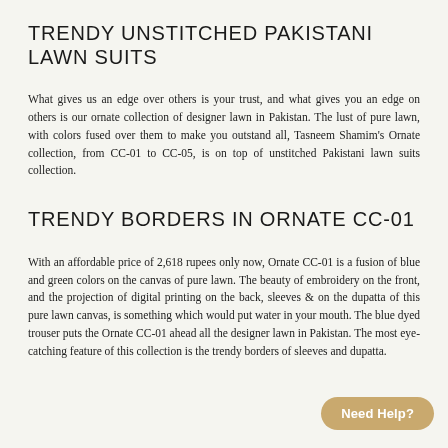TRENDY UNSTITCHED PAKISTANI LAWN SUITS
What gives us an edge over others is your trust, and what gives you an edge on others is our ornate collection of designer lawn in Pakistan. The lust of pure lawn, with colors fused over them to make you outstand all, Tasneem Shamim's Ornate collection, from CC-01 to CC-05, is on top of unstitched Pakistani lawn suits collection.
TRENDY BORDERS IN ORNATE CC-01
With an affordable price of 2,618 rupees only now, Ornate CC-01 is a fusion of blue and green colors on the canvas of pure lawn. The beauty of embroidery on the front, and the projection of digital printing on the back, sleeves & on the dupatta of this pure lawn canvas, is something which would put water in your mouth. The blue dyed trouser puts the Ornate CC-01 ahead all the designer lawn in Pakistan. The most eye-catching feature of this collection is the trendy borders of sleeves and dupatta.